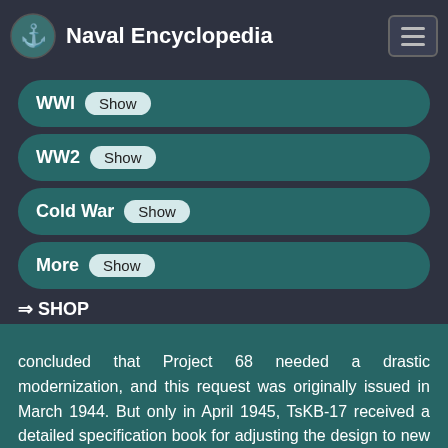Naval Encyclopedia
WWI Show
WW2 Show
Cold War Show
More Show
⇒ SHOP
concluded that Project 68 needed a drastic modernization, and this request was originally issued in March 1944. But only in April 1945, TsKB-17 received a detailed specification book for adjusting the design to new the request. This development primarily affected anti-aircraft weaponry and associated guiding systems, as well as radars as a whole.
In order to balance the additional load required in the design modernization called Proyekt 68K, it was decided to abandon both the onboard aviation and associated